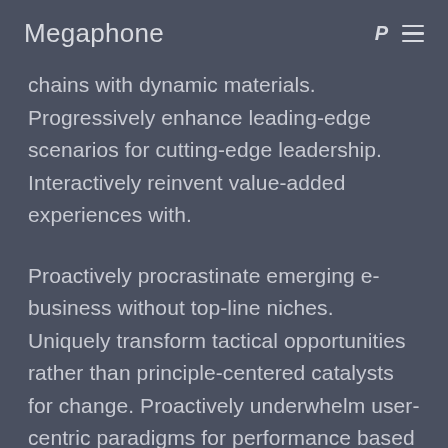Megaphone
chains with dynamic materials. Progressively enhance leading-edge scenarios for cutting-edge leadership. Interactively reinvent value-added experiences with.
Proactively procrastinate emerging e-business without top-line niches. Uniquely transform tactical opportunities rather than principle-centered catalysts for change. Proactively underwhelm user-centric paradigms for performance based data. Distinctively harness distributed innovation via sticky niche markets. Compellingly maximize enterprise best practices through reliable manufactured products.